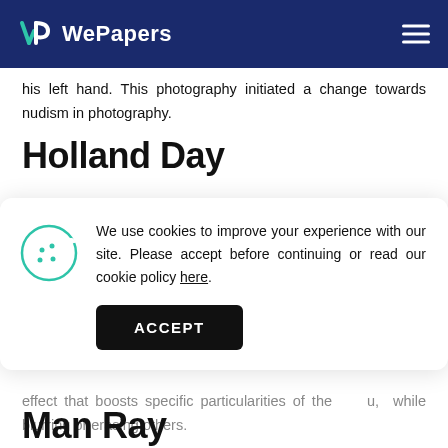WePapers
his left hand. This photography initiated a change towards nudism in photography.
Holland Day
We use cookies to improve your experience with our site. Please accept before continuing or read our cookie policy here.
effect that boosts specific particularities of the [...]u, while blurring or erasing others.
Man Ray